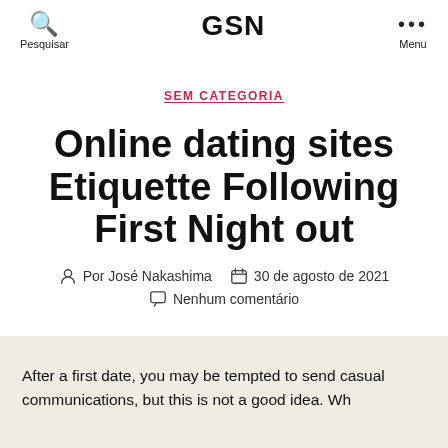Pesquisar  GSN  Menu
SEM CATEGORIA
Online dating sites Etiquette Following First Night out
Por José Nakashima  30 de agosto de 2021  Nenhum comentário
After a first date, you may be tempted to send casual communications, but this is not a good idea. Wh…